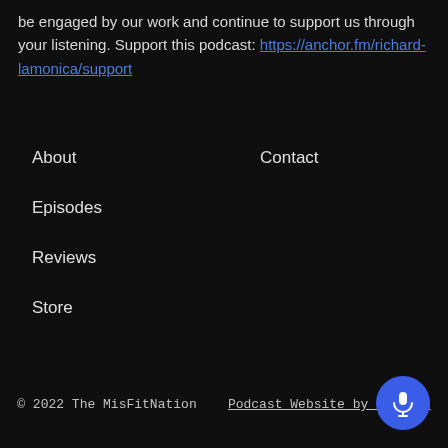be engaged by our work and continue to support us through your listening. Support this podcast: https://anchor.fm/richard-lamonica/support
About
Episodes
Reviews
Store
Contact
© 2022 The MisFitNation   Podcast Website by Podpage